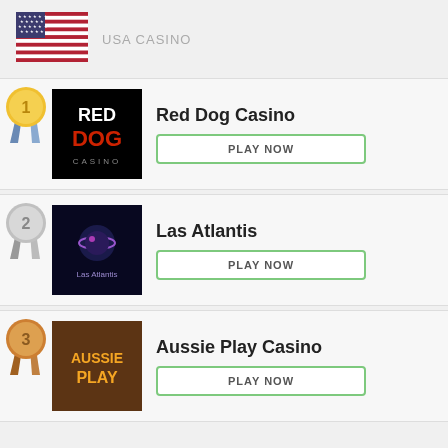[Figure (logo): USA flag icon]
USA CASINO
[Figure (logo): Red Dog Casino logo with rank 1 medal]
Red Dog Casino
PLAY NOW
[Figure (logo): Las Atlantis casino logo with rank 2 medal]
Las Atlantis
PLAY NOW
[Figure (logo): Aussie Play Casino logo with rank 3 medal]
Aussie Play Casino
PLAY NOW